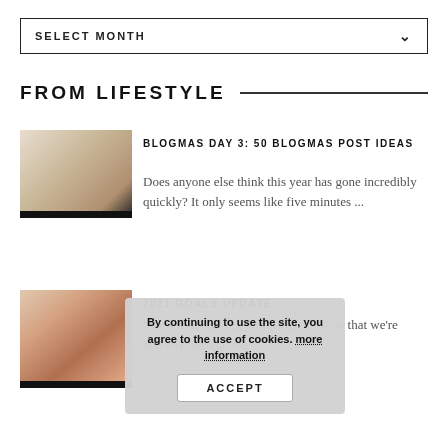SELECT MONTH
FROM LIFESTYLE
[Figure (photo): Flatlay of makeup products including an open compact with gold eyeshadow and cream products on a white background]
BLOGMAS DAY 3: 50 BLOGMAS POST IDEAS
Does anyone else think this year has gone incredibly quickly? It only seems like five minutes ...
[Figure (photo): Flatlay of colorful eyeshadow palette and other makeup products]
2021 GOALS UPDATE
Whist sharing blog post ideas, it's time that we're halfway through the ...
By continuing to use the site, you agree to the use of cookies. more information ACCEPT